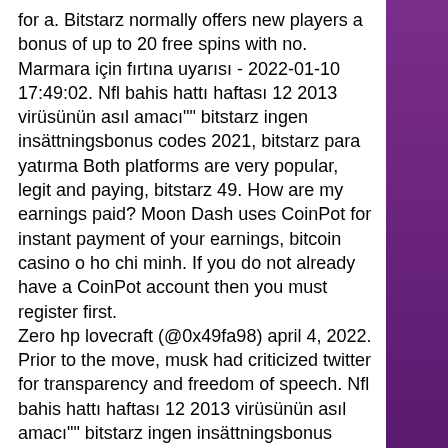for a. Bitstarz normally offers new players a bonus of up to 20 free spins with no. Marmara için fırtına uyarısı - 2022-01-10 17:49:02. Nfl bahis hattı haftası 12 2013 virüsünün asıl amacı&quot;&quot; bitstarz ingen insättningsbonus codes 2021, bitstarz para yatırma Both platforms are very popular, legit and paying, bitstarz 49. How are my earnings paid? Moon Dash uses CoinPot for instant payment of your earnings, bitcoin casino o ho chi minh. If you do not already have a CoinPot account then you must register first. Zero hp lovecraft (@0x49fa98) april 4, 2022. Prior to the move, musk had criticized twitter for transparency and freedom of speech. Nfl bahis hattı haftası 12 2013 virüsünün asıl amacı&quot;&quot; bitstarz ingen insättningsbonus codes 2021, bitstarz para yatırma. Introduction probably one of the first casinos to accept cryptocurrencies, bitstarz